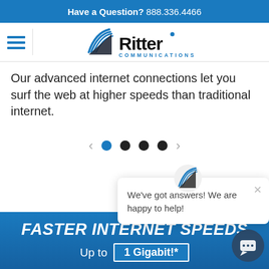Have a Question? 888.336.4466
[Figure (logo): Ritter Communications logo with hamburger menu]
Our advanced internet connections let you surf the web at higher speeds than traditional internet.
[Figure (other): Carousel navigation dots with left and right arrows, first dot active (blue)]
[Figure (other): Chat popup widget showing Ritter logo icon and text: We've got answers! We are happy to help! with close button]
FASTER INTERNET SPEEDS
Up to 1 Gigabit!*